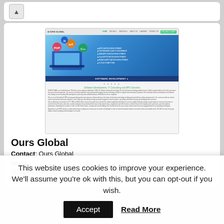[Figure (screenshot): Top card with a triangle/back navigation icon button]
[Figure (screenshot): Screenshot of Ours Global website showing navigation bar, hero banner with software development services list, dots pagination, green subtitle 'Software Development, IT Consulting and BPO Services', and body text paragraphs]
Ours Global
Contact: Ours Global
Work
30 N. Gould St, Suite 6760 Sheridan, WY 82801
Sheridan Wyoming 82801
This website uses cookies to improve your experience. We'll assume you're ok with this, but you can opt-out if you wish.